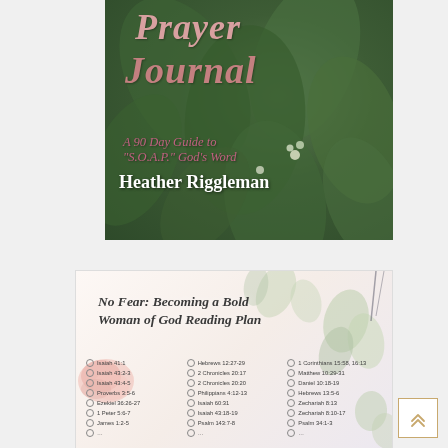[Figure (illustration): Book cover for a Prayer Journal with floral/leaf background. Title text 'Prayer Journal' in pink/rose italic font. Subtitle 'A 90 Day Guide to S.O.A.P. God's Word' and author name 'Heather Riggleman' in white on a dark green leafy background.]
[Figure (illustration): Reading plan image titled 'No Fear: Becoming a Bold Woman of God Reading Plan' with floral/botanical background (pink roses, eucalyptus). Contains three columns of Bible verse references with checkboxes: Isaiah 41:1, Isaiah 43:2-3, Isaiah 43:4-5, Proverbs 3:5-6, Ezekiel 36:26-27, 1 Peter 5:6-7, James 1:2-5 / Hebrews 12:27-29, 2 Chronicles 20:17, 2 Chronicles 20:20, Philippians 4:12-13, Isaiah 60:31, Isaiah 43:18-19, Psalm 143:7-8, / 1 Corinthians 15:58, 16:13, Matthew 10:29-31, Daniel 10:18-19, Hebrews 13:5-6, Zechariah 8:13, Zechariah 8:10-17, Psalm 34:1-3]